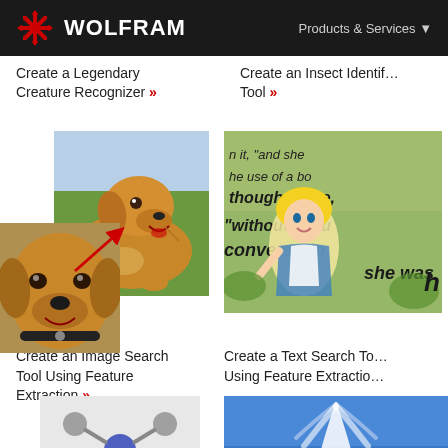WOLFRAM | Products & Services
Create a Legendary Creature Recognizer »
Create an Insect Identifier Tool »
[Figure (photo): Two overlapping photos of golden retrievers, one large showing a happy golden retriever lying on grass, one smaller showing a golden retriever closeup, with a red arrow pointing from small to large photo]
[Figure (screenshot): Screenshot showing Alice in Wonderland cartoon with overlaid text quotes: 'thought Alice', 'without picturing', 'conversation', 'she was']
Create an Image Search Tool Using Feature Extraction »
Create a Text Search Tool Using Feature Extraction »
[Figure (photo): 3D molecular model showing a molecule with blue, red, and gray atoms connected by bonds]
[Figure (photo): Photo of a white geyser or fountain erupting against a blue sky]